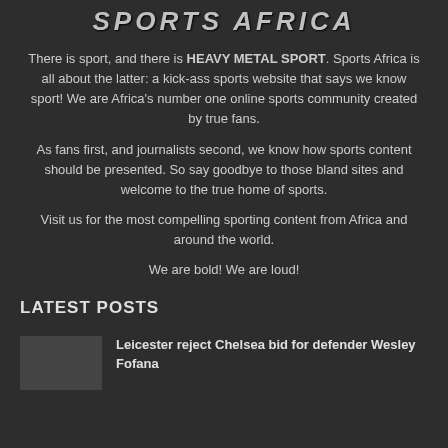SPORTS AFRICA
There is sport, and there is HEAVY METAL SPORT. Sports Africa is all about the latter: a kick-ass sports website that says we know sport! We are Africa’s number one online sports community created by true fans.
As fans first, and journalists second, we know how sports content should be presented. So say goodbye to those bland sites and welcome to the true home of sports.
Visit us for the most compelling sporting content from Africa and around the world.
We are bold! We are loud!
LATEST POSTS
Leicester reject Chelsea bid for defender Wesley Fofana